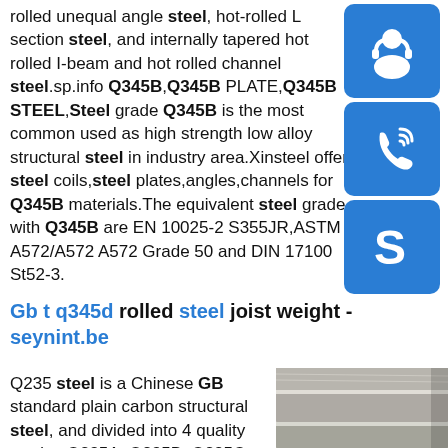rolled unequal angle steel, hot-rolled L section steel, and internally tapered hot rolled I-beam and hot rolled channel steel.sp.info Q345B,Q345B PLATE,Q345B STEEL Steel grade Q345B is the most common used as high strength low alloy structural steel in industry area.Xinsteel offer steel coils,steel plates,angles,channels for Q345B materials.The equivalent steel grade with Q345B are EN 10025-2 S355JR,ASTM A572/A572 A572 Grade 50 and DIN 17100 St52-3.
[Figure (illustration): Blue rounded-rectangle button with white headset/customer support icon]
[Figure (illustration): Blue rounded-rectangle button with white phone/call icon]
[Figure (illustration): Blue rounded-rectangle button with white Skype icon]
Gb t q345d rolled steel joist weight - seynint.be
Q235 steel is a Chinese GB standard plain carbon structural steel, and divided into 4 quality grades Q235A, Q235B, Q235C and Q235D, material density is 7.85 g/cm3, tensile strength is
[Figure (photo): Photo of stacked steel plates/sheets, grey metallic surfaces, industrial setting]